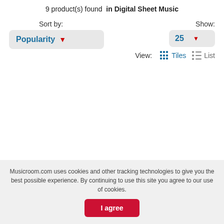9 product(s) found in Digital Sheet Music
Sort by:
Popularity
Show:
25
View:
Tiles
List
Musicroom.com uses cookies and other tracking technologies to give you the best possible experience. By continuing to use this site you agree to our use of cookies.
I agree